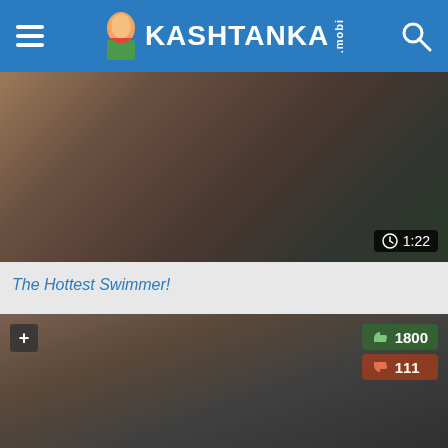KASHTANKA.mobi
[Figure (screenshot): Video thumbnail for 'The Hottest Swimmer!' showing duration 1:22]
The Hottest Swimmer!
[Figure (screenshot): Video thumbnail with like count 1800 and dislike count 111, plus icon overlay]